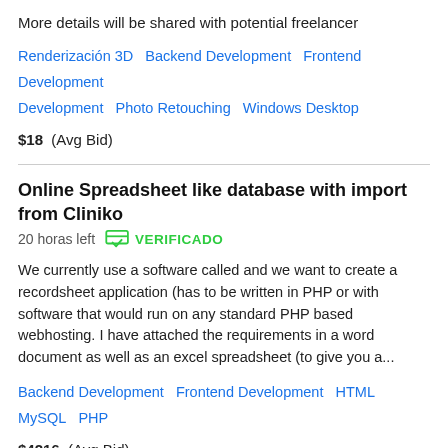More details will be shared with potential freelancer
Renderización 3D   Backend Development   Frontend Development   Photo Retouching   Windows Desktop
$18  (Avg Bid)
Online Spreadsheet like database with import from Cliniko
20 horas left   VERIFICADO
We currently use a software called and we want to create a recordsheet application (has to be written in PHP or with software that would run on any standard PHP based webhosting. I have attached the requirements in a word document as well as an excel spreadsheet (to give you a...
Backend Development   Frontend Development   HTML   MySQL   PHP
$4216  (Avg Bid)